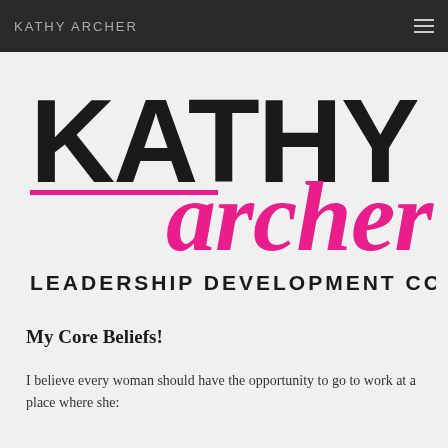KATHY ARCHER
[Figure (logo): Kathy Archer Leadership Development Coach logo — large black bold uppercase KATHY with cursive hot-pink 'archer' overlapping, pink horizontal rule under KATHY, and 'LEADERSHIP DEVELOPMENT COACH' in dark spaced uppercase below]
My Core Beliefs!
I believe every woman should have the opportunity to go to work at a place where she: